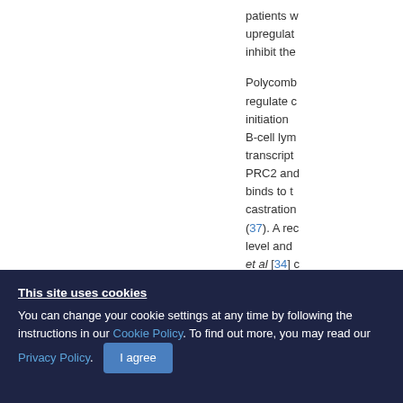patients w upregulat inhibit the
Polycomb regulate c initiation B-cell lym transcript PRC2 and binds to t castration [37]. A rec level and et al [34] c
This site uses cookies
You can change your cookie settings at any time by following the instructions in our Cookie Policy. To find out more, you may read our Privacy Policy. I agree